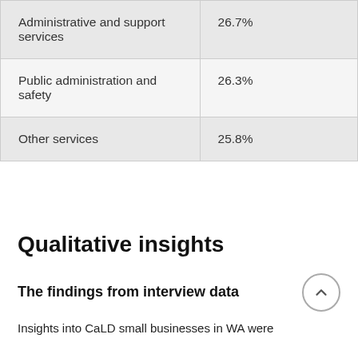| Administrative and support services | 26.7% |
| Public administration and safety | 26.3% |
| Other services | 25.8% |
Qualitative insights
The findings from interview data
Insights into CaLD small businesses in WA were